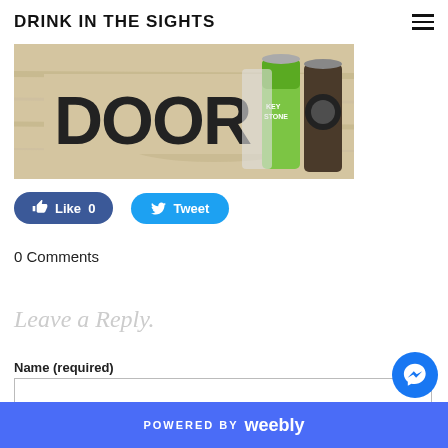DRINK IN THE SIGHTS
[Figure (photo): Cropped photo showing beer cans and a wooden sign reading DOOR in bold black text]
Like 0
Tweet
0 Comments
Leave a Reply.
Name (required)
POWERED BY weebly